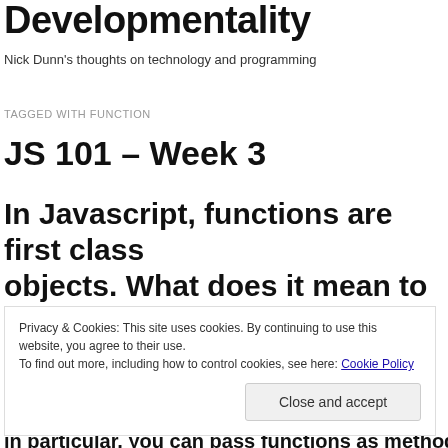Developmentality
Nick Dunn's thoughts on technology and programming
TAGGED WITH FUNCTION
JS 101 – Week 3
In Javascript, functions are first class objects. What does it mean to be a first
Privacy & Cookies: This site uses cookies. By continuing to use this website, you agree to their use.
To find out more, including how to control cookies, see here: Cookie Policy
Close and accept
in particular, you can pass functions as method